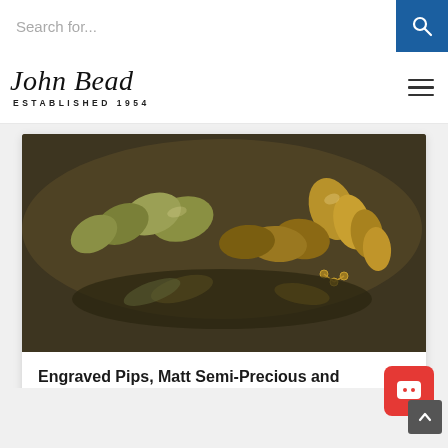Search for...
[Figure (logo): John Bead logo with cursive script text 'John Bead' and subtitle 'ESTABLISHED 1954']
[Figure (photo): Close-up photo of gold and bronze metallic beads and teardrop-shaped pendants arranged together]
Engraved Pips, Matt Semi-Precious and Preciosa Branding Program
June 17, 2021
[Figure (photo): Partial view of a second card showing cursive script text 'Bead &' in dark blue and a silver earring hook]